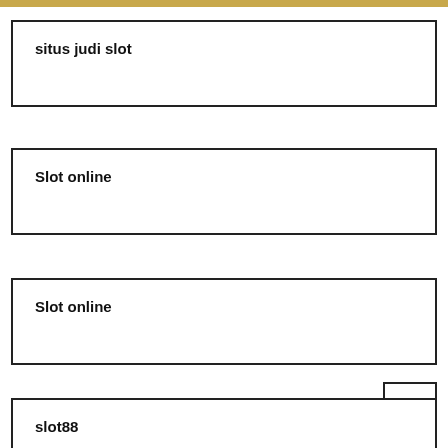situs judi slot
Slot online
Slot online
slot88